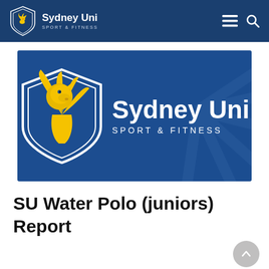Sydney Uni Sport & Fitness
[Figure (logo): Sydney Uni Sport & Fitness logo on dark blue background — shield with golden lion on left, 'Sydney Uni' in large white bold text and 'SPORT & FITNESS' in spaced white caps on right, with watermark lion head in background]
SU Water Polo (juniors) Report